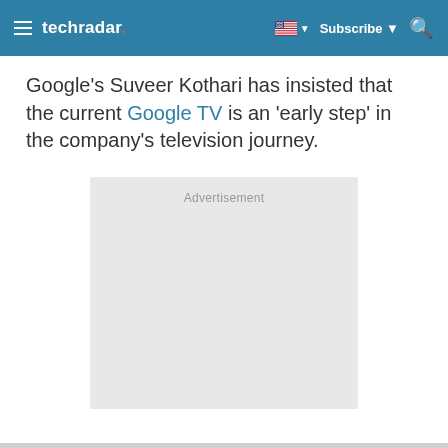techradar
Google's Suveer Kothari has insisted that the current Google TV is an 'early step' in the company's television journey.
[Figure (other): Advertisement placeholder box with light gray background and 'Advertisement' label text]